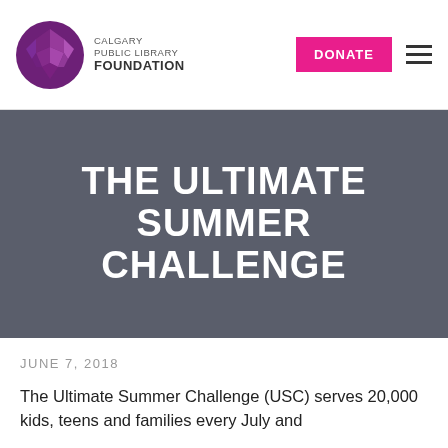Calgary Public Library Foundation — DONATE
THE ULTIMATE SUMMER CHALLENGE
JUNE 7, 2018
The Ultimate Summer Challenge (USC) serves 20,000 kids, teens and families every July and